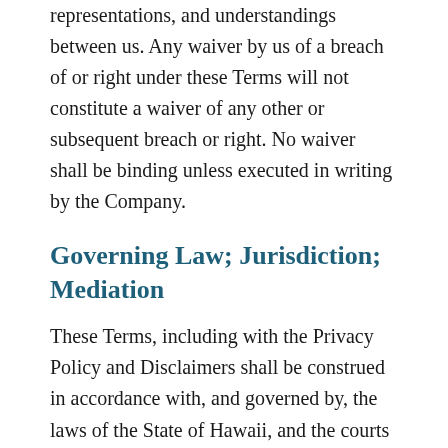representations, and understandings between us. Any waiver by us of a breach of or right under these Terms will not constitute a waiver of any other or subsequent breach or right. No waiver shall be binding unless executed in writing by the Company.
Governing Law; Jurisdiction; Mediation
These Terms, including with the Privacy Policy and Disclaimers shall be construed in accordance with, and governed by, the laws of the State of Hawaii, and the courts of Hawaii shall have jurisdiction to hear and determine any dispute arising in relation to